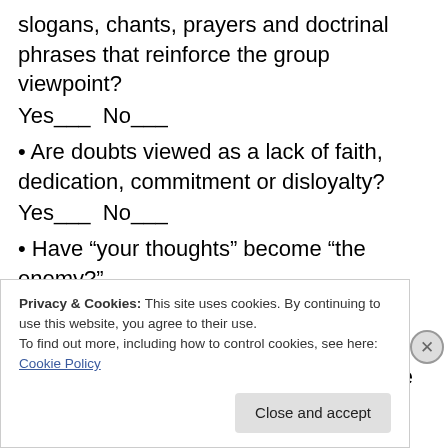slogans, chants, prayers and doctrinal phrases that reinforce the group viewpoint?
Yes___ No___
• Are doubts viewed as a lack of faith, dedication, commitment or disloyalty?
Yes___ No___
• Have “your thoughts” become “the enemy?”
Yes___ No___
• Do you often find yourself doing more and more things in the group or because of group peer pressure that you would not have done on your own?
Privacy & Cookies: This site uses cookies. By continuing to use this website, you agree to their use.
To find out more, including how to control cookies, see here: Cookie Policy